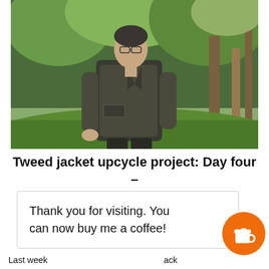[Figure (photo): A man wearing a dark tweed jacket standing outdoors among green trees and shrubs.]
Tweed jacket upcycle project: Day four – final stitches and all done!
Thank you for visiting. You can now buy me a coffee!
Last week ... ack upcycling p ... it, you'll want to read back to the original idea outlined here, and part